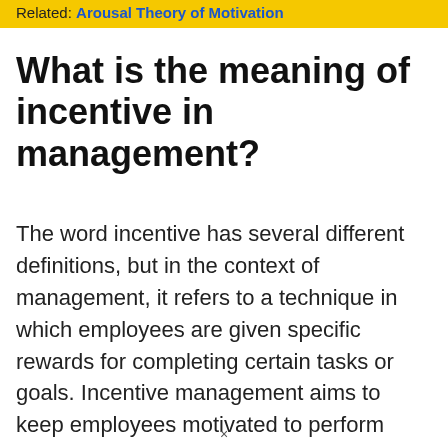Related: Arousal Theory of Motivation
What is the meaning of incentive in management?
The word incentive has several different definitions, but in the context of management, it refers to a technique in which employees are given specific rewards for completing certain tasks or goals. Incentive management aims to keep employees motivated to perform well or meet particular company goals.